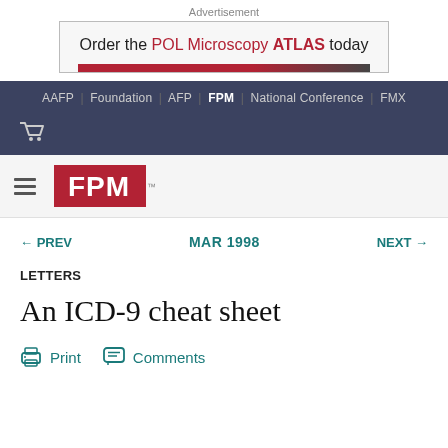Advertisement
[Figure (other): Advertisement banner: Order the POL Microscopy ATLAS today]
AAFP | Foundation | AFP | FPM | National Conference | FMX
[Figure (logo): FPM logo - red rectangle with white FPM text]
← PREV   MAR 1998   NEXT →
LETTERS
An ICD-9 cheat sheet
Print   Comments